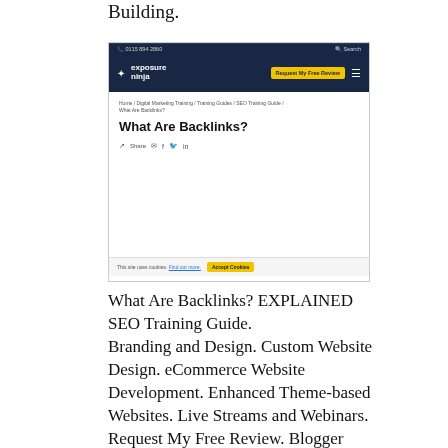Building.
[Figure (screenshot): Screenshot of the Exposure Ninja website showing the 'What Are Backlinks?' page with dark navy navigation bar, logo, yellow 'Request My Free Review' button, breadcrumb navigation, page heading, and social share icons. A cookie consent bar is visible at the bottom.]
What Are Backlinks? EXPLAINED SEO Training Guide.
Branding and Design. Custom Website Design. eCommerce Website Development. Enhanced Theme-based Websites. Live Streams and Webinars. Request My Free Review. Blogger Outreach Service. Conversion Rate Optimisation. Pay Per Click. Amazon Ads Management. Facebook Ads Management.